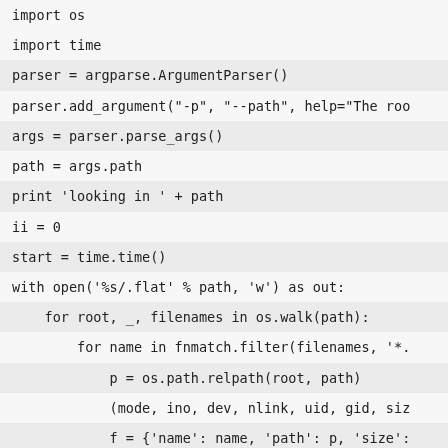import os
import time
parser = argparse.ArgumentParser()
parser.add_argument("-p", "--path", help="The roo
args = parser.parse_args()
path = args.path
print 'looking in ' + path
ii = 0
start = time.time()
with open('%s/.flat' % path, 'w') as out:
for root, _, filenames in os.walk(path):
for name in fnmatch.filter(filenames, '*.
p = os.path.relpath(root, path)
(mode, ino, dev, nlink, uid, gid, siz
f = {'name': name, 'path': p, 'size':
out.write("i,%s,%s,%d\n" % (name, p,
ii += 1
if ii % 1000 == 0:
print "Reading %d" % ii